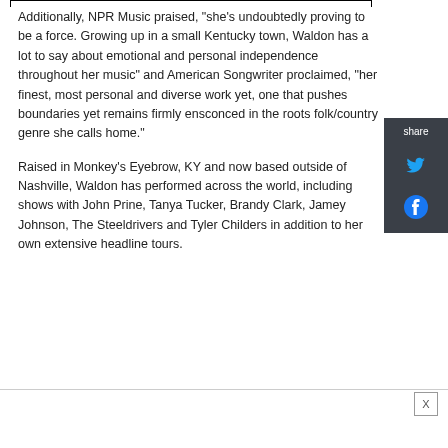Additionally, NPR Music praised, "she's undoubtedly proving to be a force. Growing up in a small Kentucky town, Waldon has a lot to say about emotional and personal independence throughout her music" and American Songwriter proclaimed, "her finest, most personal and diverse work yet, one that pushes boundaries yet remains firmly ensconced in the roots folk/country genre she calls home."
Raised in Monkey's Eyebrow, KY and now based outside of Nashville, Waldon has performed across the world, including shows with John Prine, Tanya Tucker, Brandy Clark, Jamey Johnson, The Steeldrivers and Tyler Childers in addition to her own extensive headline tours.